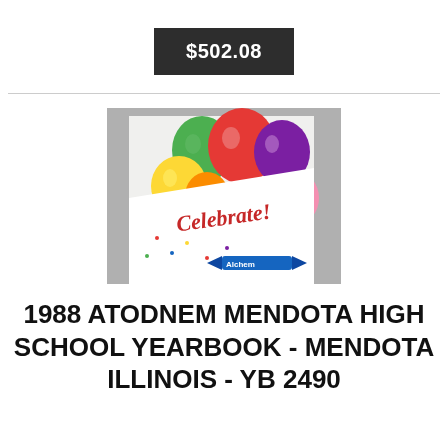$502.08
[Figure (photo): A yearbook with a colorful cover showing balloons and the text 'Celebrate!' in red script, along with the word 'Alchem' on a blue ribbon, photographed on a gray surface.]
1988 ATODNEM MENDOTA HIGH SCHOOL YEARBOOK - MENDOTA ILLINOIS - YB 2490